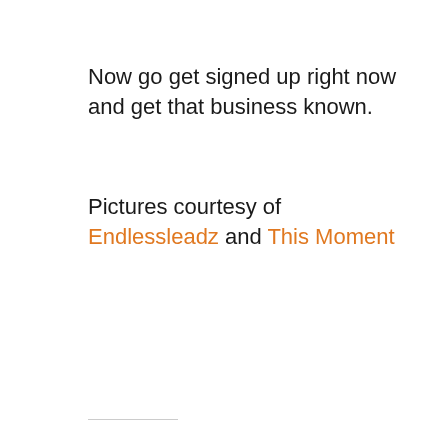Now go get signed up right now and get that business known.
Pictures courtesy of Endlessleadz and This Moment